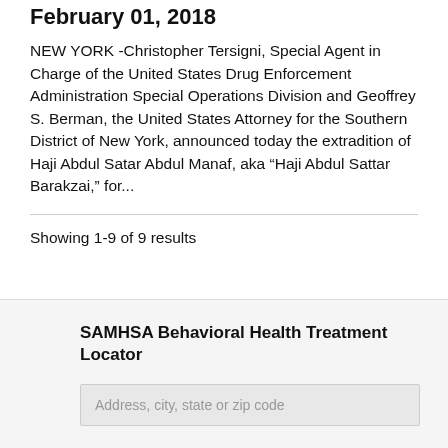February 01, 2018
NEW YORK - Christopher Tersigni, Special Agent in Charge of the United States Drug Enforcement Administration Special Operations Division and Geoffrey S. Berman, the United States Attorney for the Southern District of New York, announced today the extradition of Haji Abdul Satar Abdul Manaf, aka “Haji Abdul Sattar Barakzai,” for...
Showing 1-9 of 9 results
SAMHSA Behavioral Health Treatment Locator
Address, city, state or zip code